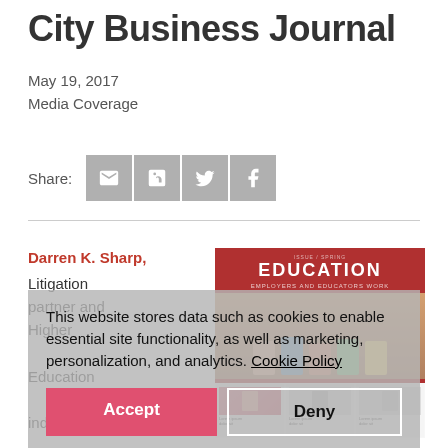City Business Journal
May 19, 2017
Media Coverage
Share:
[Figure (other): Magazine cover showing EDUCATION header with student photos and article columns]
Darren K. Sharp, Litigation partner and Higher Education industry team co-leader, was
This website stores data such as cookies to enable essential site functionality, as well as marketing, personalization, and analytics. Cookie Policy
Accept
Deny